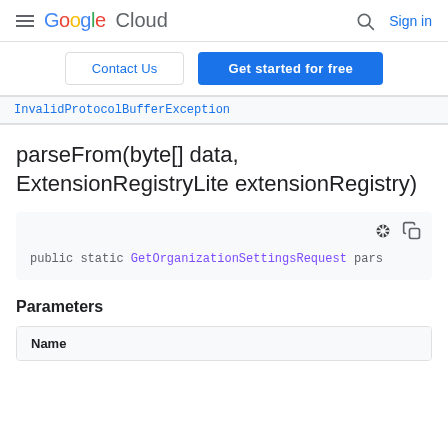Google Cloud  Sign in
Contact Us  Get started for free
InvalidProtocolBufferException
parseFrom(byte[] data, ExtensionRegistryLite extensionRegistry)
public static GetOrganizationSettingsRequest pars
Parameters
| Name |
| --- |